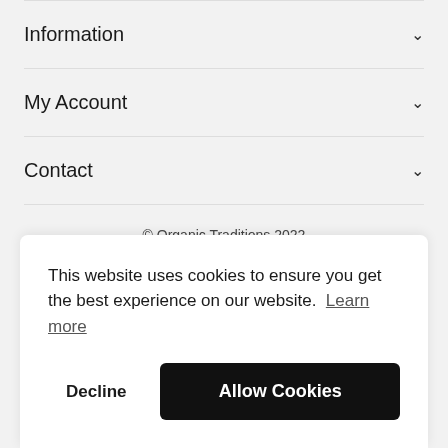Information
My Account
Contact
© Organic Traditions 2022
This website uses cookies to ensure you get the best experience on our website. Learn more
Decline
Allow Cookies